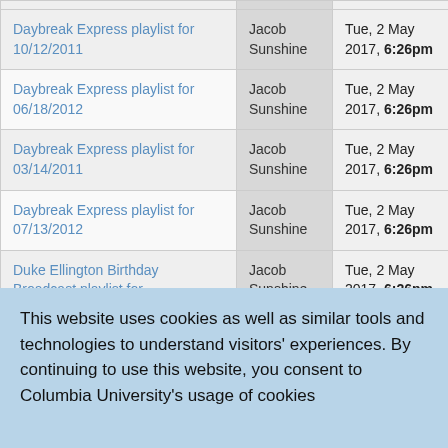| Title | Author | Date |
| --- | --- | --- |
| Daybreak Express playlist for 10/12/2011 | Jacob Sunshine | Tue, 2 May 2017, 6:26pm |
| Daybreak Express playlist for 06/18/2012 | Jacob Sunshine | Tue, 2 May 2017, 6:26pm |
| Daybreak Express playlist for 03/14/2011 | Jacob Sunshine | Tue, 2 May 2017, 6:26pm |
| Daybreak Express playlist for 07/13/2012 | Jacob Sunshine | Tue, 2 May 2017, 6:26pm |
| Duke Ellington Birthday Broadcast playlist for 04/29/2012 | Jacob Sunshine | Tue, 2 May 2017, 6:26pm |
| Daybreak Express playlist for | Jacob | Tue, 2 May |
This website uses cookies as well as similar tools and technologies to understand visitors' experiences. By continuing to use this website, you consent to Columbia University's usage of cookies